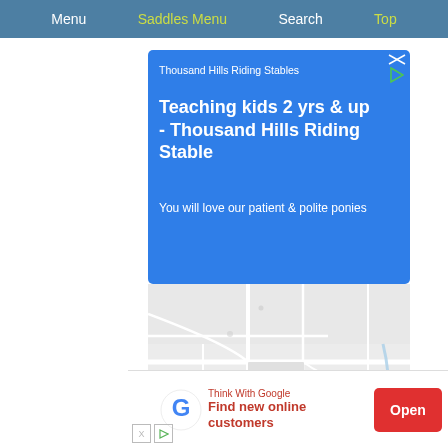Menu  Saddles Menu  Search  Top
[Figure (screenshot): Blue advertisement card for Thousand Hills Riding Stables. Small text: 'Thousand Hills Riding Stables'. Large bold heading: 'Teaching kids 2 yrs & up - Thousand Hills Riding Stable'. Body text: 'You will love our patient & polite ponies'. Top-right shows close/ad icons.]
[Figure (map): Google Maps screenshot showing a rural road network on light grey background with some blue water features and light roads.]
[Figure (screenshot): Bottom banner ad: Google 'Think With Google' ad. Text: 'Think With Google / Find new online customers'. Red Open button on right. Small X and play icons bottom-left.]